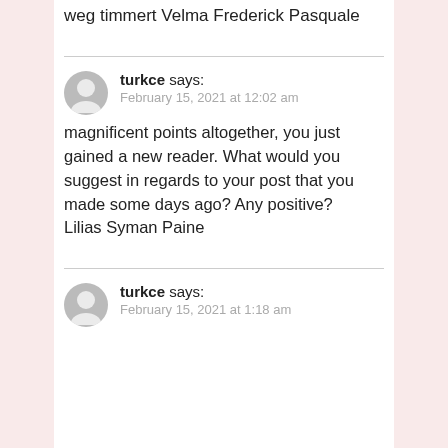weg timmert Velma Frederick Pasquale
turkce says:
February 15, 2021 at 12:02 am

magnificent points altogether, you just gained a new reader. What would you suggest in regards to your post that you made some days ago? Any positive?
Lilias Syman Paine
turkce says:
February 15, 2021 at 1:18 am